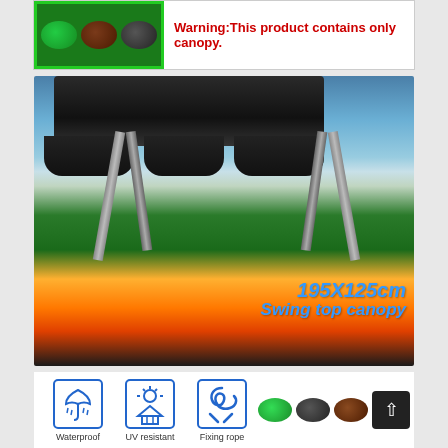[Figure (photo): Top banner showing three color swatches (green, brown, gray) with warning text in red]
Warning:This product contains only canopy.
[Figure (photo): Main product photo showing a large black swing top canopy on a metal frame against a scenic sunset/grass background with size label 195X125cm and text Swing top canopy]
195X125cm
Swing top canopy
[Figure (infographic): Three feature icons: Waterproof (umbrella icon), UV resistant (sun/house icon), Fixing rope (rope/knot icon), plus three color oval swatches (green, gray, brown) and a scroll-up button]
Waterproof   UV resistant   Fixing rope